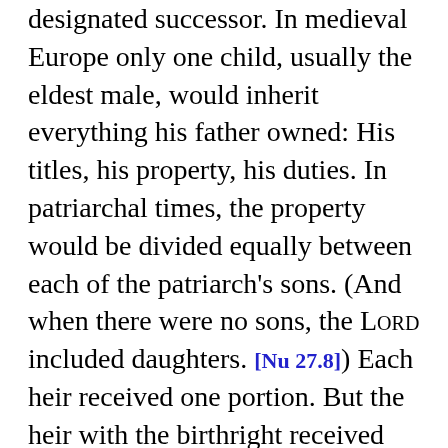designated successor. In medieval Europe only one child, usually the eldest male, would inherit everything his father owned: His titles, his property, his duties. In patriarchal times, the property would be divided equally between each of the patriarch's sons. (And when there were no sons, the LORD included daughters. [Nu 27.8]) Each heir received one portion. But the heir with the birthright received two portions instead of the one. He became the new patriarch, the head of the family. He needed the extra portion in order to take care of all his father's subjects, who were now his subjects.
	Customarily (as indicated by the word bekhorá) the designated successor was the